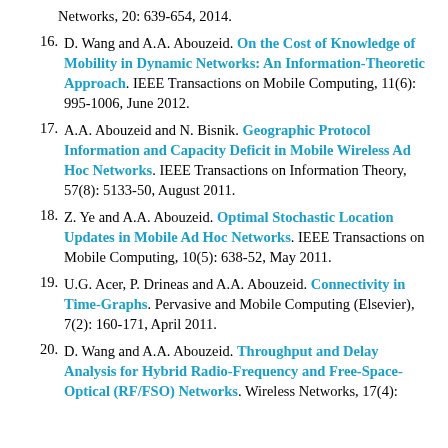(continuation) Networks, 20: 639-654, 2014.
16. D. Wang and A.A. Abouzeid. On the Cost of Knowledge of Mobility in Dynamic Networks: An Information-Theoretic Approach. IEEE Transactions on Mobile Computing, 11(6): 995-1006, June 2012.
17. A.A. Abouzeid and N. Bisnik. Geographic Protocol Information and Capacity Deficit in Mobile Wireless Ad Hoc Networks. IEEE Transactions on Information Theory, 57(8): 5133-50, August 2011.
18. Z. Ye and A.A. Abouzeid. Optimal Stochastic Location Updates in Mobile Ad Hoc Networks. IEEE Transactions on Mobile Computing, 10(5): 638-52, May 2011.
19. U.G. Acer, P. Drineas and A.A. Abouzeid. Connectivity in Time-Graphs. Pervasive and Mobile Computing (Elsevier), 7(2): 160-171, April 2011.
20. D. Wang and A.A. Abouzeid. Throughput and Delay Analysis for Hybrid Radio-Frequency and Free-Space-Optical (RF/FSO) Networks. Wireless Networks, 17(4):